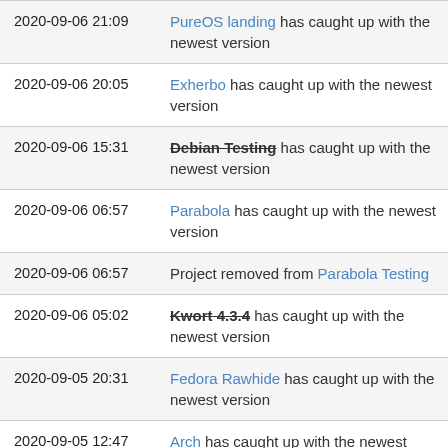| Date | Event |
| --- | --- |
| 2020-09-06 21:09 | PureOS landing has caught up with the newest version |
| 2020-09-06 20:05 | Exherbo has caught up with the newest version |
| 2020-09-06 15:31 | Debian Testing has caught up with the newest version |
| 2020-09-06 06:57 | Parabola has caught up with the newest version |
| 2020-09-06 06:57 | Project removed from Parabola Testing |
| 2020-09-06 05:02 | Kwort 4.3.4 has caught up with the newest version |
| 2020-09-05 20:31 | Fedora Rawhide has caught up with the newest version |
| 2020-09-05 12:47 | Arch has caught up with the newest version |
| 2020-09-05 12:47 | Project removed from Arch Testing |